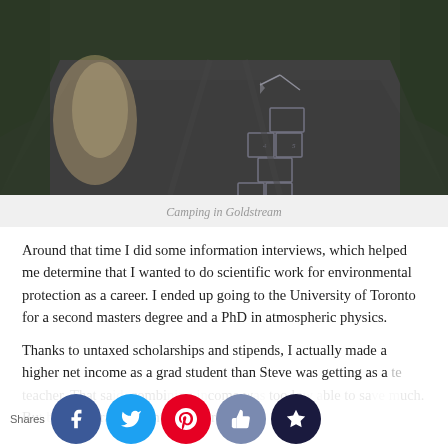[Figure (photo): A road with chalk drawings on the pavement, taken outdoors with trees in the background. A chalk hopscotch-like game is drawn on the asphalt.]
Camping in Goldstream
Around that time I did some information interviews, which helped me determine that I wanted to do scientific work for environmental protection as a career. I ended up going to the University of Toronto for a second masters degree and a PhD in atmospheric physics.
Thanks to untaxed scholarships and stipends, I actually made a higher net income as a grad student than Steve was getting as a [te...] that sa[id] combi[ned] [inc]ome w[as] too lo[w] [a]ble to sa[ve m]uch. Bu[t b]ing a gra[d stu]dent in t[he p]rogram